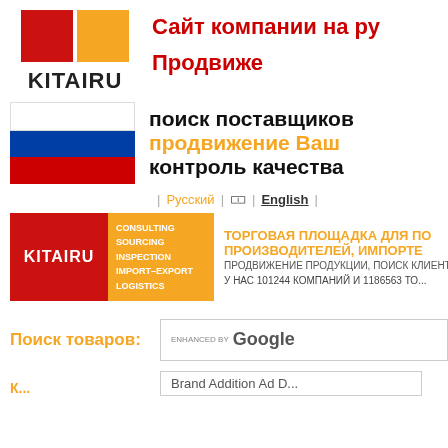[Figure (logo): KITAIRU logo with red and orange squares above bold KITAIRU text]
Сайт компании на ру...
Продвиже...
[Figure (illustration): Russian flag (tricolor: white, blue, red)]
поиск поставщиков
продвижение Ваш...
контроль качества
Русский  |  🇨🇳  |  English  |
[Figure (logo): KITAIRU banner with red logo block and orange block listing CONSULTING, SOURCING, INSPECTION, IMPORT-EXPORT, LOGISTICS]
ТОРГОВАЯ ПЛОЩАДКА ДЛЯ ПО... ПРОИЗВОДИТЕЛЕЙ, ИМПОРТЕ...
ПРОДВИЖЕНИЕ ПРОДУКЦИИ, ПОИСК КЛИЕНТОВ...
У НАС 101244 КОМПАНИЙ И 1186563 ТО...
Поиск товаров:
[Figure (screenshot): Google search box with ENHANCED BY Google label]
К...
Brand Addition Ad D...